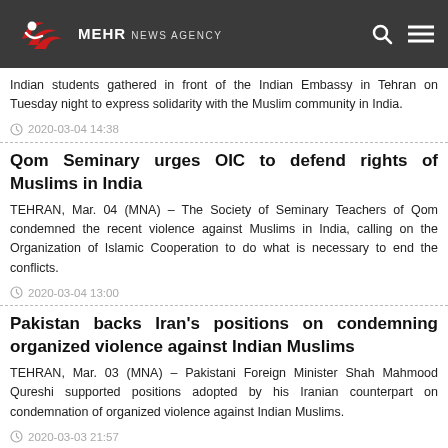MEHR NEWS AGENCY
Indian students gathered in front of the Indian Embassy in Tehran on Tuesday night to express solidarity with the Muslim community in India.
2020-03-04 14:38
Qom Seminary urges OIC to defend rights of Muslims in India
TEHRAN, Mar. 04 (MNA) – The Society of Seminary Teachers of Qom condemned the recent violence against Muslims in India, calling on the Organization of Islamic Cooperation to do what is necessary to end the conflicts.
2020-03-04 13:00
Pakistan backs Iran's positions on condemning organized violence against Indian Muslims
TEHRAN, Mar. 03 (MNA) – Pakistani Foreign Minister Shah Mahmood Qureshi supported positions adopted by his Iranian counterpart on condemnation of organized violence against Indian Muslims.
2020-03-03 21:57